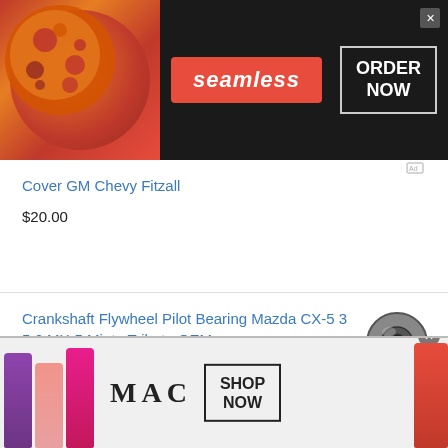[Figure (illustration): Seamless food delivery banner ad with pizza image, Seamless logo in red badge, and ORDER NOW button]
Cover GM Chevy Fitzall
$20.00
Crankshaft Flywheel Pilot Bearing Mazda CX-5 3 5 6 MX-5 Miata Tribute OEM
[Figure (photo): Small metal crankshaft flywheel pilot bearing, cylindrical, dark metallic]
$16.34
[Figure (illustration): MAC cosmetics banner ad with colorful lipsticks, MAC logo, and SHOP NOW button]